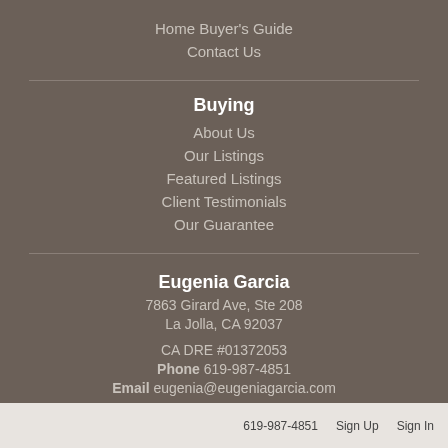Home Buyer's Guide
Contact Us
Buying
About Us
Our Listings
Featured Listings
Client Testimonials
Our Guarantee
Eugenia Garcia
7863 Girard Ave, Ste 208
La Jolla, CA 92037
CA DRE #01372053
Phone 619-987-4851
Email eugenia@eugeniagarcia.com
619-987-4851   Sign Up   Sign In